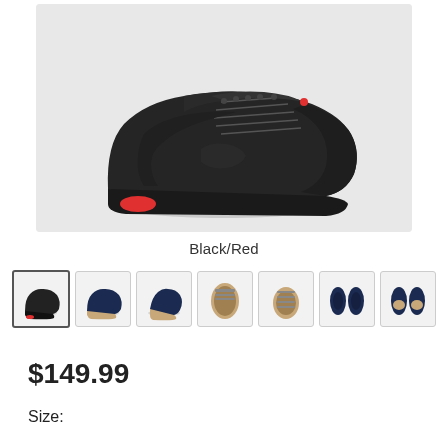[Figure (photo): Main product photo of a black cycling/mountain bike shoe with red accents, shown from the side on a light grey background. The shoe has laces and a flat sole.]
Black/Red
[Figure (photo): Row of 7 thumbnail images showing different color variants and angles of the shoe: black/red side view, navy/gum side view, navy/gum front-angled view, gum/tan sole view, gum tan top view, navy top-down view, navy/gum pair top-down view.]
$149.99
Size: